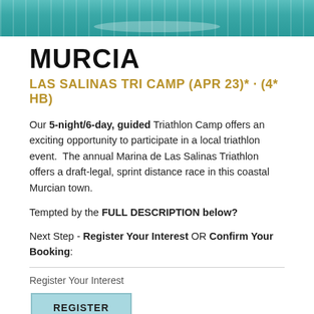[Figure (photo): Cropped photo of swimmers/triathletes in open water, teal/turquoise water visible at top of page]
MURCIA
LAS SALINAS TRI CAMP (APR 23)* · (4* HB)
Our 5-night/6-day, guided Triathlon Camp offers an exciting opportunity to participate in a local triathlon event.  The annual Marina de Las Salinas Triathlon offers a draft-legal, sprint distance race in this coastal Murcian town.
Tempted by the FULL DESCRIPTION below?
Next Step - Register Your Interest OR Confirm Your Booking:
Register Your Interest
[Figure (screenshot): Light blue REGISTER button with border, partially overlapped by a circular badge with 0 and a cart icon in the bottom-left corner]